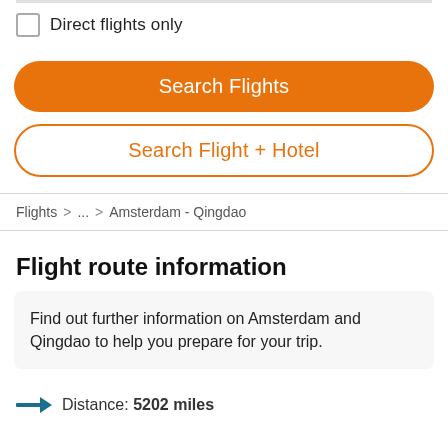Direct flights only
Search Flights
Search Flight + Hotel
Flights > ... > Amsterdam - Qingdao
Flight route information
Find out further information on Amsterdam and Qingdao to help you prepare for your trip.
Distance: 5202 miles